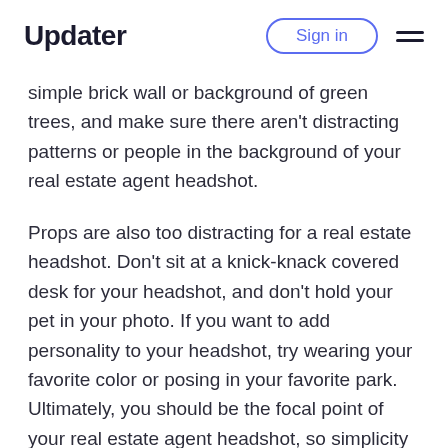Updater | Sign in
simple brick wall or background of green trees, and make sure there aren't distracting patterns or people in the background of your real estate agent headshot.
Props are also too distracting for a real estate headshot. Don't sit at a knick-knack covered desk for your headshot, and don't hold your pet in your photo. If you want to add personality to your headshot, try wearing your favorite color or posing in your favorite park. Ultimately, you should be the focal point of your real estate agent headshot, so simplicity is key.